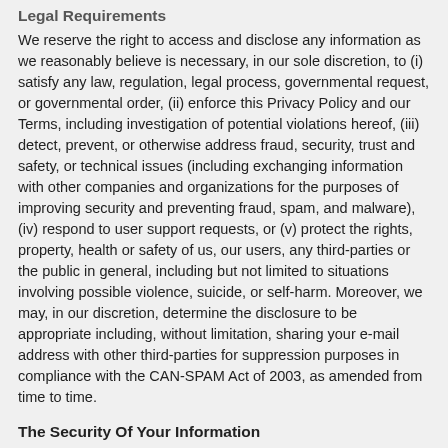Legal Requirements
We reserve the right to access and disclose any information as we reasonably believe is necessary, in our sole discretion, to (i) satisfy any law, regulation, legal process, governmental request, or governmental order, (ii) enforce this Privacy Policy and our Terms, including investigation of potential violations hereof, (iii) detect, prevent, or otherwise address fraud, security, trust and safety, or technical issues (including exchanging information with other companies and organizations for the purposes of improving security and preventing fraud, spam, and malware), (iv) respond to user support requests, or (v) protect the rights, property, health or safety of us, our users, any third-parties or the public in general, including but not limited to situations involving possible violence, suicide, or self-harm. Moreover, we may, in our discretion, determine the disclosure to be appropriate including, without limitation, sharing your e-mail address with other third-parties for suppression purposes in compliance with the CAN-SPAM Act of 2003, as amended from time to time.
The Security Of Your Information
Consistent with the policies set forth herein, the Website has adopted and implemented reasonable, appropriate and technologically feasible procedures for maintaining the security, accuracy and integrity of all personal information relating